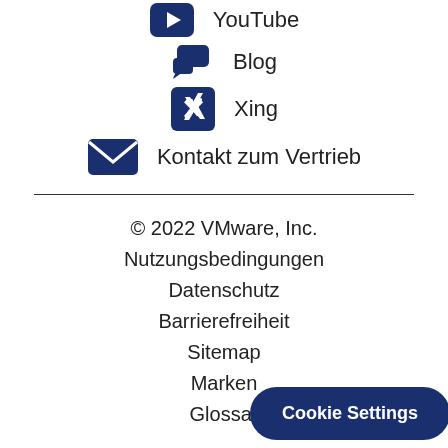YouTube
Blog
Xing
Kontakt zum Vertrieb
© 2022 VMware, Inc.
Nutzungsbedingungen
Datenschutz
Barrierefreiheit
Sitemap
Marken
Glossar
Cookie Settings